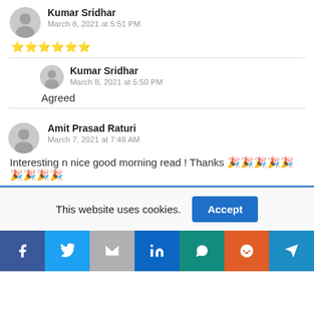Kumar Sridhar — March 8, 2021 at 5:51 PM — [emoji stars]
Kumar Sridhar — March 8, 2021 at 5:50 PM — Agreed
Amit Prasad Raturi — March 7, 2021 at 7:48 AM — Interesting n nice good morning read ! Thanks [emojis]
This website uses cookies.
Accept